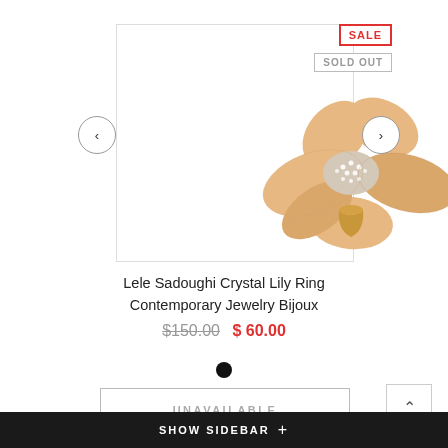[Figure (photo): Lele Sadoughi Crystal Lily Ring — a peach/apricot floral ring with crystal-encrusted center dome and gold band, shown against white background]
SALE
SOLD OUT
Lele Sadoughi Crystal Lily Ring Contemporary Jewelry Bijoux
$150.00  $ 60.00
UNAVAILABLE
SHOW SIDEBAR  +